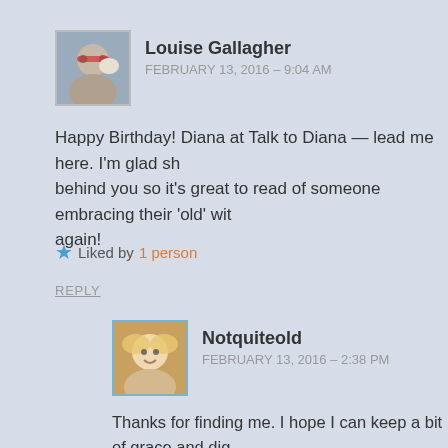[Figure (photo): Avatar photo of Louise Gallagher, a person with sunglasses and a dog]
Louise Gallagher
FEBRUARY 13, 2016 – 9:04 AM
Happy Birthday! Diana at Talk to Diana — lead me here. I'm glad sh... behind you so it's great to read of someone embracing their 'old' wit... again!
Liked by 1 person
REPLY
[Figure (photo): Avatar photo of Notquiteold, a woman with light hair]
Notquiteold
FEBRUARY 13, 2016 – 2:38 PM
Thanks for finding me. I hope I can keep a bit of grace and dig... a bit of feisty!
Like